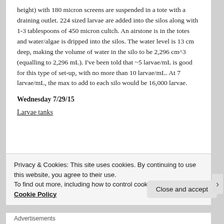height) with 180 micron screens are suspended in a tote with a draining outlet. 224 sized larvae are added into the silos along with 1-3 tablespoons of 450 micron cultch. An airstone is in the totes and water/algae is dripped into the silos. The water level is 13 cm deep, making the volume of water in the silo to be 2,296 cm^3 (equalling to 2,296 mL). I've been told that ~5 larvae/mL is good for this type of set-up, with no more than 10 larvae/mL. At 7 larvae/mL, the max to add to each silo would be 16,000 larvae.
Wednesday 7/29/15
Larvae tanks
Privacy & Cookies: This site uses cookies. By continuing to use this website, you agree to their use.
To find out more, including how to control cookies, see here: Cookie Policy